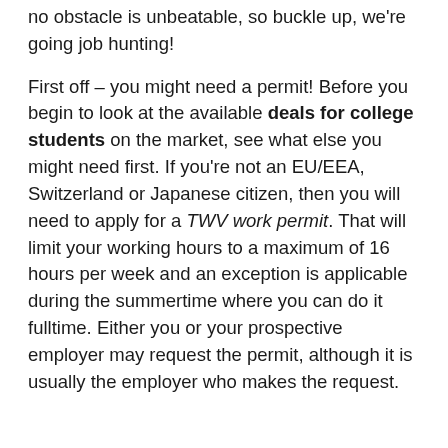no obstacle is unbeatable, so buckle up, we're going job hunting!
First off – you might need a permit! Before you begin to look at the available deals for college students on the market, see what else you might need first. If you're not an EU/EEA, Switzerland or Japanese citizen, then you will need to apply for a TWV work permit. That will limit your working hours to a maximum of 16 hours per week and an exception is applicable during the summertime where you can do it fulltime. Either you or your prospective employer may request the permit, although it is usually the employer who makes the request.